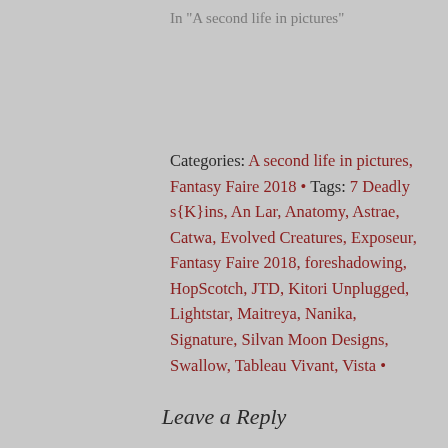In "A second life in pictures"
Categories: A second life in pictures, Fantasy Faire 2018 • Tags: 7 Deadly s{K}ins, An Lar, Anatomy, Astrae, Catwa, Evolved Creatures, Exposeur, Fantasy Faire 2018, foreshadowing, HopScotch, JTD, Kitori Unplugged, Lightstar, Maitreya, Nanika, Signature, Silvan Moon Designs, Swallow, Tableau Vivant, Vista •
Leave a Reply